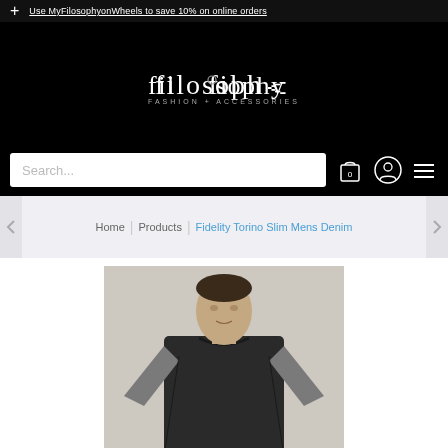Use MyFilosophyonWheels to save 10% on online orders
[Figure (logo): filosophy FASHION + ACCESSORIES logo on black background]
[Figure (screenshot): Search bar with bag icon showing 0, user icon, and hamburger menu on black background]
Home | Products | Fidelity Torino Slim Mens Denim
[Figure (photo): Man wearing dark grey baseball-style t-shirt with grey raglan sleeves, cropped at torso]